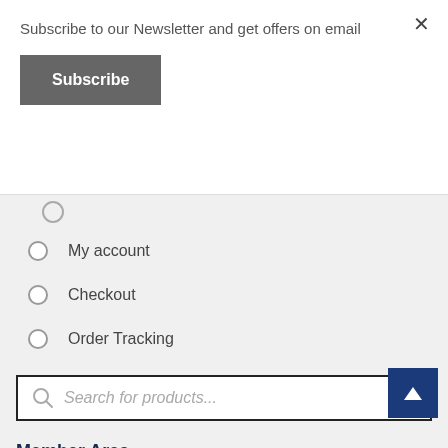Subscribe to our Newsletter and get offers on email
×
Subscribe
My account
Checkout
Order Tracking
Search for products...
Member Area
My account